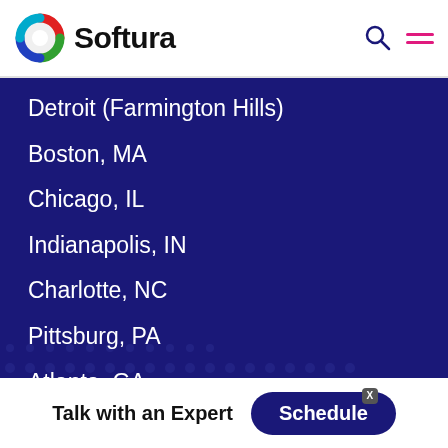Softura
Detroit (Farmington Hills)
Boston, MA
Chicago, IL
Indianapolis, IN
Charlotte, NC
Pittsburg, PA
Atlanta, GA
Dallas, TX
Tampa Bay, FL
Talk with an Expert  Schedule